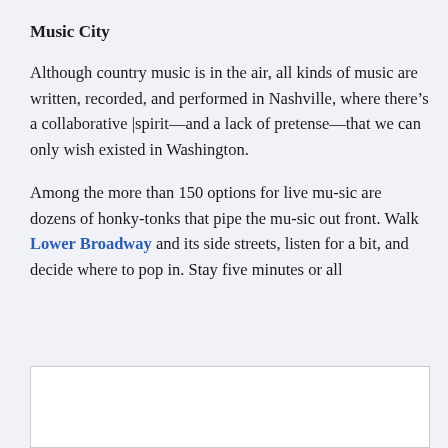Music City
Although country music is in the air, all kinds of music are written, recorded, and performed in Nashville, where there’s a collaborative |spirit—and a lack of pretense—that we can only wish existed in Washington.
Among the more than 150 options for live mu-sic are dozens of honky-tonks that pipe the mu-sic out front. Walk Lower Broadway and its side streets, listen for a bit, and decide where to pop in. Stay five minutes or all
[Figure (photo): White image box at bottom of page]